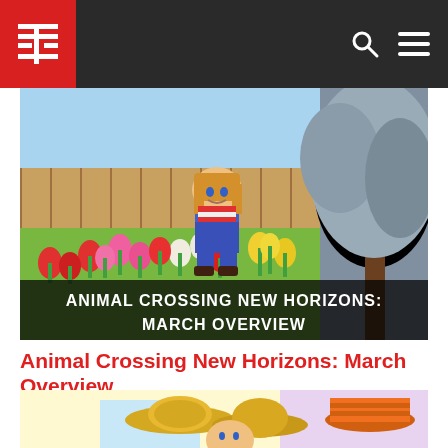Animal Crossing / Gaming website header with logo and navigation icons
[Figure (screenshot): Animal Crossing New Horizons game screenshot showing a female character standing in a colorful tulip garden with pink, red, yellow, and white flowers. A large grey-leafed tree is visible on the right. Overlaid text reads: ANIMAL CROSSING NEW HORIZONS: MARCH OVERVIEW]
Animal Crossing New Horizons: March Overview
[Figure (screenshot): Animal Crossing New Horizons game screenshot showing hats and character items on a light yellow and purple pastel background — includes straw hats and a striped orange beehive-style hat]